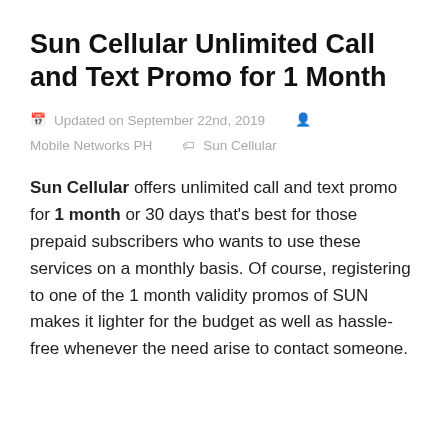Sun Cellular Unlimited Call and Text Promo for 1 Month
Updated on September 22nd, 2019   Mobile Networks PH   Sun Cellular
Sun Cellular offers unlimited call and text promo for 1 month or 30 days that's best for those prepaid subscribers who wants to use these services on a monthly basis. Of course, registering to one of the 1 month validity promos of SUN makes it lighter for the budget as well as hassle-free whenever the need arise to contact someone.